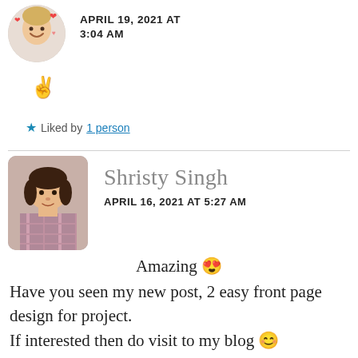[Figure (photo): Circular avatar photo of a person with blonde hair, with heart emoji decorations around the image]
APRIL 19, 2021 AT 3:04 AM
✌️
★ Liked by 1 person
[Figure (photo): Rounded rectangle avatar photo of Shristy Singh, a young woman in a plaid shirt]
Shristy Singh
APRIL 16, 2021 AT 5:27 AM
Amazing 😍
Have you seen my new post, 2 easy front page design for project.
If interested then do visit to my blog 😊